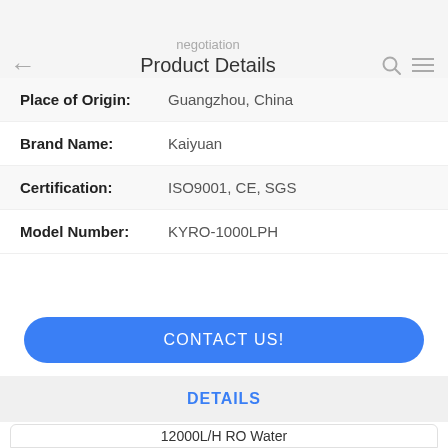negotiation
Product Details
| Place of Origin: | Guangzhou, China |
| Brand Name: | Kaiyuan |
| Certification: | ISO9001, CE, SGS |
| Model Number: | KYRO-1000LPH |
CONTACT US!
DETAILS
Similar Products
12000L/H RO Water